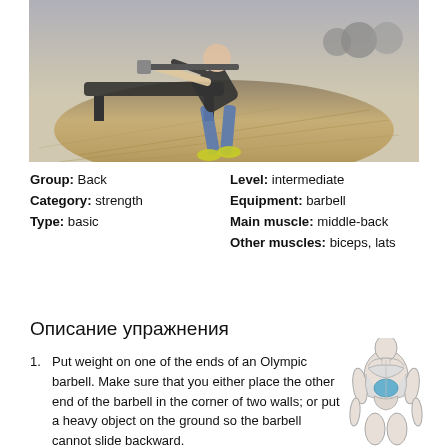[Figure (photo): Person performing a barbell row exercise in a gym with wooden floor, weight bench visible, and exercise balls in background]
Group: Back   Level: intermediate
Category: strength   Equipment: barbell
Type: basic   Main muscle: middle-back
  Other muscles: biceps, lats
Описание упражнения
Put weight on one of the ends of an Olympic barbell. Make sure that you either place the other end of the barbell in the corner of two walls; or put a heavy object on the ground so the barbell cannot slide backward.
[Figure (illustration): Anatomical diagram of back muscles from posterior view with middle-back highlighted in blue]